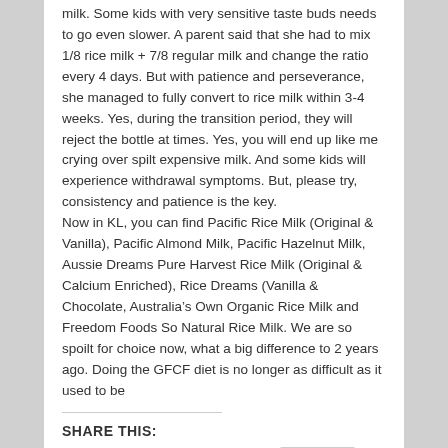milk. Some kids with very sensitive taste buds needs to go even slower. A parent said that she had to mix 1/8 rice milk + 7/8 regular milk and change the ratio every 4 days. But with patience and perseverance, she managed to fully convert to rice milk within 3-4 weeks. Yes, during the transition period, they will reject the bottle at times. Yes, you will end up like me crying over spilt expensive milk. And some kids will experience withdrawal symptoms. But, please try, consistency and patience is the key.
Now in KL, you can find Pacific Rice Milk (Original & Vanilla), Pacific Almond Milk, Pacific Hazelnut Milk, Aussie Dreams Pure Harvest Rice Milk (Original & Calcium Enriched), Rice Dreams (Vanilla & Chocolate, Australia’s Own Organic Rice Milk and Freedom Foods So Natural Rice Milk. We are so spoilt for choice now, what a big difference to 2 years ago. Doing the GFCF diet is no longer as difficult as it used to be
SHARE THIS: